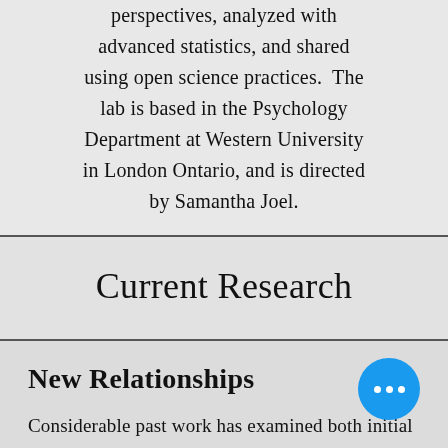perspectives, analyzed with advanced statistics, and shared using open science practices. The lab is based in the Psychology Department at Western University in London Ontario, and is directed by Samantha Joel.
Current Research
New Relationships
Considerable past work has examined both initial romantic attraction and established romantic connection. However, the crucial fledgling relationship stage that bridges them...